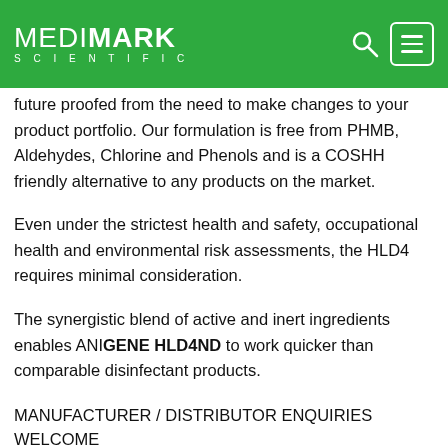MEDIMARK SCIENTIFIC
future proofed from the need to make changes to your product portfolio. Our formulation is free from PHMB, Aldehydes, Chlorine and Phenols and is a COSHH friendly alternative to any products on the market.
Even under the strictest health and safety, occupational health and environmental risk assessments, the HLD4 requires minimal consideration.
The synergistic blend of active and inert ingredients enables ANIGENE HLD4ND to work quicker than comparable disinfectant products.
MANUFACTURER / DISTRIBUTOR ENQUIRIES WELCOME